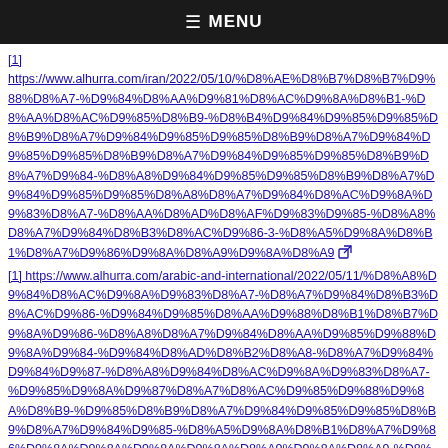≡ MENU
[1] https://www.alhurra.com/iran/2022/05/10/%D8%AE%D8%B7%D8%B7%D9%88%D8%A7-%D9%84%D8%AA%D9%81%D8%AC%D9%8A%D8%B1-%D8%AA%D8%AC%D9%85%D8%B9-%D8%B4%D9%84%D9%85%D9%85%D8%B9%D8%A7%D9%84%D9%85%D9%85%D8%B9%D8%A7%D9%84%D9%85%D9%85%D8%B9%D8%A7%D9%84%D8%A8%D9%8A%D9%85%D9%85%D8%B9%D8%A7%D9%84%D9%85%D9%85%D8%A8%D8%A7%D9%84%D8%AC%D9%8A%D9%83%D8%A7-%D8%AA%D8%AD%D8%AF%D9%83%D9%85-%D8%A8%D8%A7%D9%84%D8%B3%D8%AC%D9%86-3-%D8%A7%D9%8A%D8%B1%D8%A7%D9%86%D9%8A%D9%8A%D9%8A%D9%8A [external link icon]
[1] https://www.alhurra.com/arabic-and-international/2022/05/11/%D8%A8%D9%84%D8%AC%D9%8A%D9%83%D8%A7-%D8%A7%D9%84%D8%B3%D8%AC%D9%86-%D9%84%D9%85%D8%AA%D9%88%D8%B1%D8%B7%D9%8A%D9%86-%D8%A8%D8%A7%D9%84%D8%AA%D9%85%D9%88%D9%8A%D9%84-%D9%84%D8%AD%D8%B2%D8%A8-%D8%A7%D9%84%D9%84%D9%87-%D8%A8%D9%84%D8%AC%D9%8A%D9%83%D8%A7-%D9%85%D9%8A%D9%87%D8%A7%D8%AC%D9%85%D9%88%D9%8A%D8%B9-%D9%85%D8%B9%D8%A7%D9%84%D9%85%D9%85%D8%B9%D8%A7%D9%84%D9%85-%D8%A5%D9%8A%D8%B1%D8%A7%D9%86%D9%8A%D9%8A